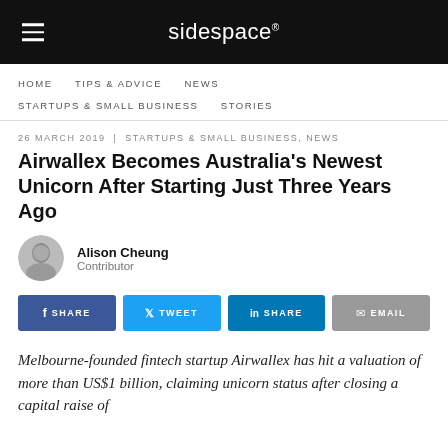sidespace®
HOME   TIPS & ADVICE   NEWS   STARTUPS & SMALL BUSINESS   STORIES
26 MARCH 2019  |  STARTUPS & SMALL BUSINESS, NEWS
Airwallex Becomes Australia's Newest Unicorn After Starting Just Three Years Ago
Alison Cheung
Contributor
SHARE   TWEET   SHARE   EMAIL
Melbourne-founded fintech startup Airwallex has hit a valuation of more than US$1 billion, claiming unicorn status after closing a capital raise of